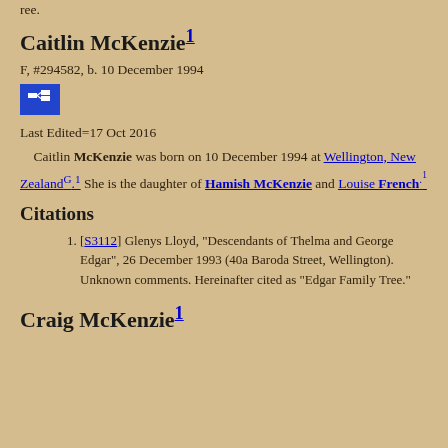ree.
Caitlin McKenzie¹
F, #294582, b. 10 December 1994
[Figure (other): Pedigree chart icon button (blue square with branching tree icon)]
Last Edited=17 Oct 2016
Caitlin McKenzie was born on 10 December 1994 at Wellington, New ZealandG.1 She is the daughter of Hamish McKenzie and Louise French.1
Citations
[S3112] Glenys Lloyd, "Descendants of Thelma and George Edgar", 26 December 1993 (40a Baroda Street, Wellington). Unknown comments. Hereinafter cited as "Edgar Family Tree."
Craig McKenzie¹